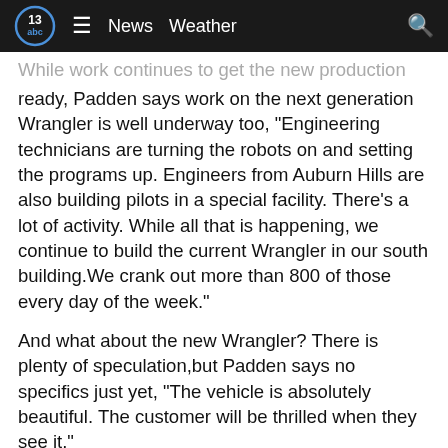13abc | News  Weather
While work continues to get the new production lines ready, Padden says work on the next generation Wrangler is well underway too, "Engineering technicians are turning the robots on and setting the programs up. Engineers from Auburn Hills are also building pilots in a special facility. There's a lot of activity. While all that is happening, we continue to build the current Wrangler in our south building.We crank out more than 800 of those every day of the week."
And what about the new Wrangler? There is plenty of speculation,but Padden says no specifics just yet, "The vehicle is absolutely beautiful. The customer will be thrilled when they see it."
Production of the new Wrangler will begin here in Toledo by the [early] next ye[ar]...
[Figure (infographic): Toledo Memorial Park advertisement banner. Shows decorative bicycle/memorial graphic on left, cursive text 'find your forever place' in the center, and 'ToledoMemorialPark.com 6382 Monroe Street Sylvania, OH 43560' on the right. Has a close (X) button on top right.]